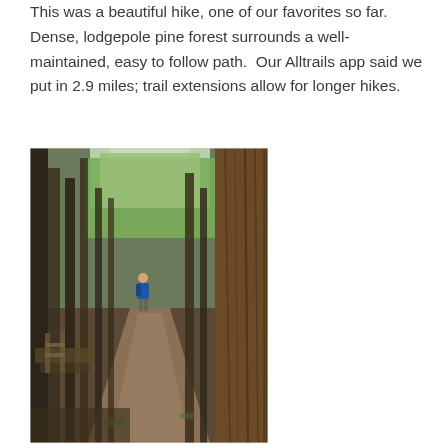This was a beautiful hike, one of our favorites so far. Dense, lodgepole pine forest surrounds a well-maintained, easy to follow path.  Our Alltrails app said we put in 2.9 miles; trail extensions allow for longer hikes.
[Figure (photo): A forest hiking trail through dense lodgepole pine trees with a hiker in a blue jacket visible in the middle distance on a dirt path. Green foliage visible in the background, with a wooden fence/bench structure on the left side.]